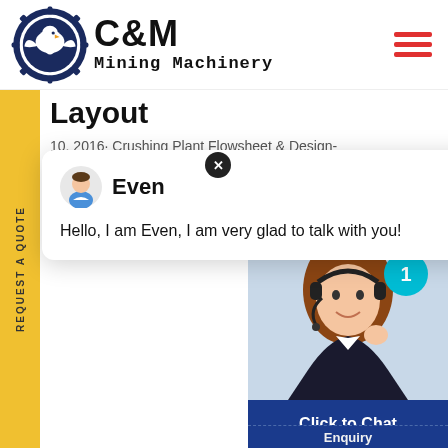[Figure (logo): C&M Mining Machinery logo with eagle in gear circle and company name text]
Layout
10, 2016· Crushing Plant Flowsheet & Design-
[Figure (screenshot): Chat popup with avatar of 'Even' and message: Hello, I am Even, I am very glad to talk with you!]
clearly, we made to take lumps... y work much more efficiently if ess. Before the advent of the Sy sher ...
Prev Page:Hydrocyclone Manufact
Next Page:Washing Machine Broke...
Iron
[Figure (photo): Support agent woman with headset, notification badge showing 1, Click to Chat button, Enquiry bar below]